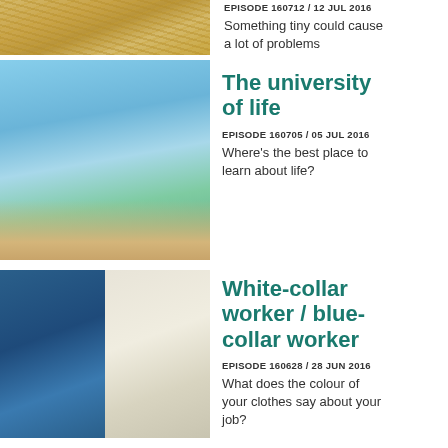[Figure (photo): Partial image of straw/hay at top of page]
EPISODE 160712 / 12 JUL 2016
Something tiny could cause a lot of problems
[Figure (photo): Young woman with a map looking into the distance, blue sky background]
The university of life
EPISODE 160705 / 05 JUL 2016
Where's the best place to learn about life?
[Figure (photo): Two workers in blue uniforms with clipboard (left), and business meeting scene (right)]
White-collar worker / blue-collar worker
EPISODE 160628 / 28 JUN 2016
What does the colour of your clothes say about your job?